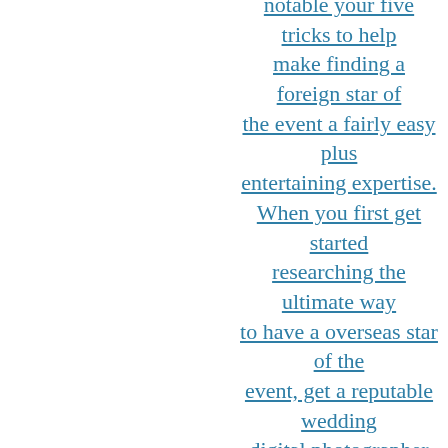notable your five tricks to help make finding a foreign star of the event a fairly easy plus entertaining expertise. When you first get started researching the ultimate way to have a overseas star of the event, get a reputable wedding digital photographer who specializes in foreign marriages. Also you can get personal references through your friend or family member who have could already be hitched. I suggest choosing a personal trip to typically the